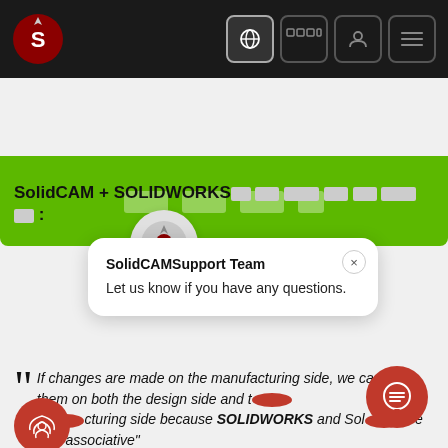[Figure (screenshot): SolidCAM website navigation bar with logo and icon buttons on dark background]
[Figure (screenshot): Green banner with Korean/blocked text for a promotional heading]
SolidCAM + SOLIDWORKSà àà ààà àà àààà àà :
[Figure (screenshot): SolidCAM chat popup with SolidCAMSupport Team avatar and message: Let us know if you have any questions.]
If changes are made on the manufacturing side, we capture them on both the design side and the manufacturing side because SOLIDWORKS and SolidCAM are fully associative"